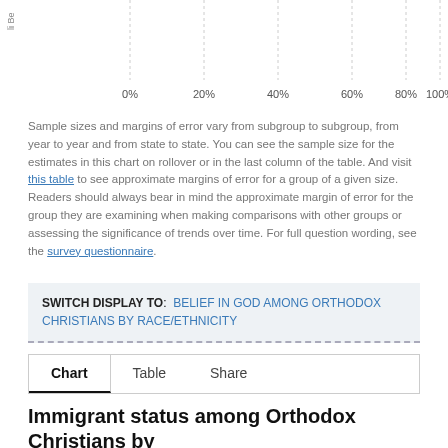[Figure (other): Top portion of a horizontal bar chart showing x-axis with percentage labels 0%, 20%, 40%, 60%, 80%, 100% and dashed vertical gridlines. A rotated y-axis label 'Be...' is visible at top left.]
Sample sizes and margins of error vary from subgroup to subgroup, from year to year and from state to state. You can see the sample size for the estimates in this chart on rollover or in the last column of the table. And visit this table to see approximate margins of error for a group of a given size. Readers should always bear in mind the approximate margin of error for the group they are examining when making comparisons with other groups or assessing the significance of trends over time. For full question wording, see the survey questionnaire.
SWITCH DISPLAY TO: BELIEF IN GOD AMONG ORTHODOX CHRISTIANS BY RACE/ETHNICITY
Chart   Table   Share
Immigrant status among Orthodox Christians by